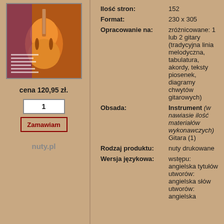[Figure (photo): Book cover showing an orange electric guitar (semi-hollow body) with purple/dark background]
cena 120,95 zł.
1
Zamawiam
nuty.pl
| Ilość stron: | 152 |
| Format: | 230 x 305 |
| Opracowanie na: | zróżnicowane: 1 lub 2 gitary (tradycyjna linia melodyczna, tabulatura, akordy, teksty piosenek, diagramy chwytów gitarowych) |
| Obsada: | Instrument (w nawiasie ilość materiałów wykonawczych) Gitara (1) |
| Rodzaj produktu: | nuty drukowane |
| Wersja językowa: | wstępu: angielska tytułów utworów: angielska słów utworów: angielska |